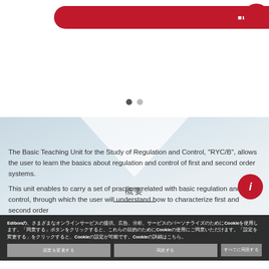[Figure (screenshot): Red pill-shaped button with Japanese/Chinese text, and a red circle at top right]
[Figure (infographic): Carousel pagination dots — one filled dark, one grey]
[Figure (infographic): Blue-grey geometric background with white chevron/triangle shape, section header text in center, and red info circle button]
概要
The Basic Teaching Unit for the Study of Regulation and Control, "RYC/B", allows the user to learn the basics about regulation and control of first and second order systems.
This unit enables to carry a set of practices related with basic regulation and control, through which the user will understand how to characterize first and second order
Edibonの、さまざまなオンラインサービスの提供、広告、分析、サービスのパーソナライズのためにCookieを使用します。「同意する」ボタンをクリックすると、これらの目的のためにCookieの使用にご同意いただけます。「設定を変更する」をクリックすると、Cookieの設定が可能です。Cookieの詳細はこちら。
設定を変更する
同意する
すべてに同意する